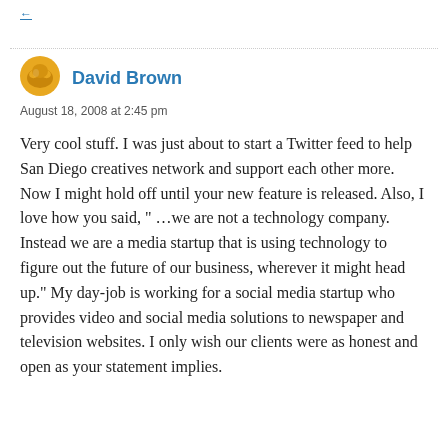← Previous link (truncated)
David Brown
August 18, 2008 at 2:45 pm
Very cool stuff. I was just about to start a Twitter feed to help San Diego creatives network and support each other more. Now I might hold off until your new feature is released. Also, I love how you said, " …we are not a technology company. Instead we are a media startup that is using technology to figure out the future of our business, wherever it might head up." My day-job is working for a social media startup who provides video and social media solutions to newspaper and television websites. I only wish our clients were as honest and open as your statement implies.